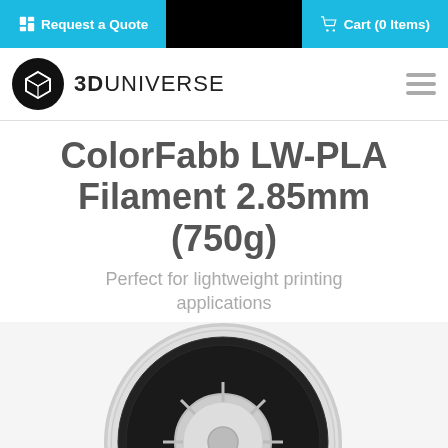Request a Quote | Cart (0 Items)
[Figure (logo): 3D Universe logo: circular black badge with 3D cube icon, followed by bold text '3DUNIVERSE']
ColorFabb LW-PLA Filament 2.85mm (750g)
Perfect for lightweight printing applications
[Figure (photo): A spool of dark/black ColorFabb LW-PLA filament 2.85mm, partially visible from below center of the page]